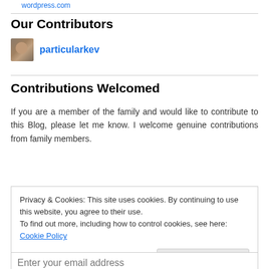wordpress.com
Our Contributors
particularkev
Contributions Welcomed
If you are a member of the family and would like to contribute to this Blog, please let me know. I welcome genuine contributions from family members.
Privacy & Cookies: This site uses cookies. By continuing to use this website, you agree to their use.
To find out more, including how to control cookies, see here: Cookie Policy
Close and accept
Enter your email address